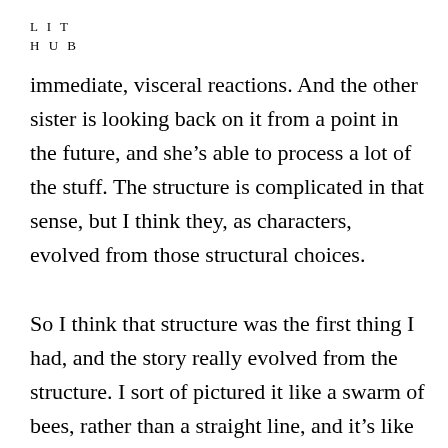L I T
H U B
immediate, visceral reactions. And the other sister is looking back on it from a point in the future, and she’s able to process a lot of the stuff. The structure is complicated in that sense, but I think they, as characters, evolved from those structural choices.

So I think that structure was the first thing I had, and the story really evolved from the structure. I sort of pictured it like a swarm of bees, rather than a straight line, and it’s like all of these characters, some of them super peripheral, have their own story, and I pictured